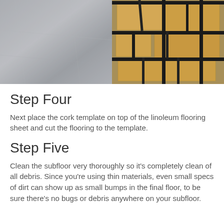[Figure (photo): Two side-by-side photos: left shows a smooth grey concrete subfloor; right shows a cardboard/cork template laid on a surface with dark tape marking cut lines in a grid-like floor layout pattern.]
Step Four
Next place the cork template on top of the linoleum flooring sheet and cut the flooring to the template.
Step Five
Clean the subfloor very thoroughly so it’s completely clean of all debris. Since you’re using thin materials, even small specs of dirt can show up as small bumps in the final floor, to be sure there’s no bugs or debris anywhere on your subfloor.